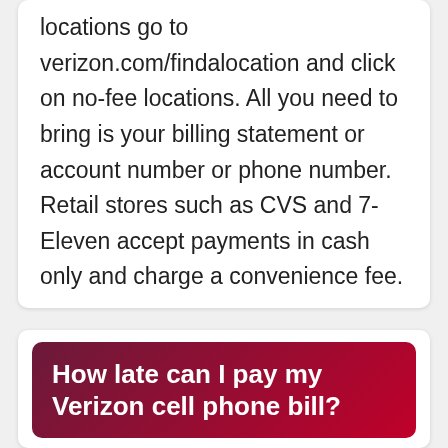locations go to verizon.com/findalocation and click on no-fee locations. All you need to bring is your billing statement or account number or phone number. Retail stores such as CVS and 7-Eleven accept payments in cash only and charge a convenience fee.
How late can I pay my Verizon cell phone bill?